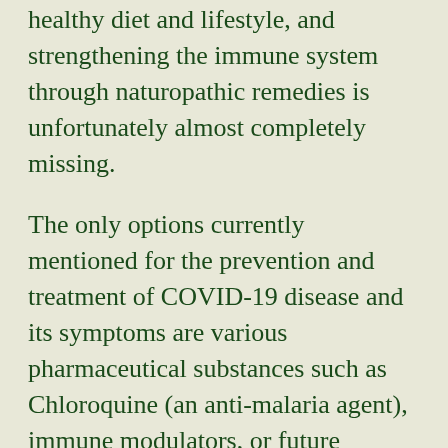healthy diet and lifestyle, and strengthening the immune system through naturopathic remedies is unfortunately almost completely missing.
The only options currently mentioned for the prevention and treatment of COVID-19 disease and its symptoms are various pharmaceutical substances such as Chloroquine (an anti-malaria agent), immune modulators, or future vaccines against the SARS-CoV-2 pathogen(Severe acute respiratory syndrome coronavirus 2). As with all pharmaceutical drugs, these treatments are always accompanied by side effects. However, hardly a word is said about